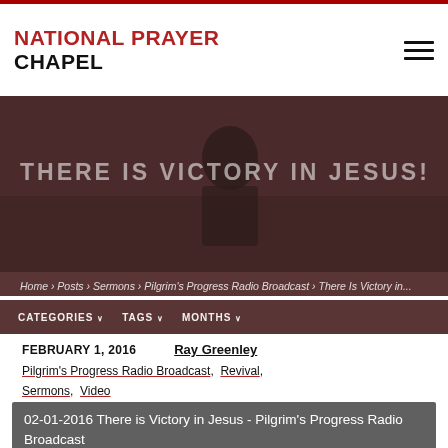NATIONAL PRAYER CHAPEL
[Figure (photo): Person praying with hands clasped, seated in pews, dark reddish overlay. Text overlay reads THERE IS VICTORY IN JESUS!]
Home › Posts › Sermons › Pilgrim's Progress Radio Broadcast › There Is Victory in...
CATEGORIES ∨   TAGS ∨   MONTHS ∨
FEBRUARY 1, 2016    Ray Greenley
Pilgrim's Progress Radio Broadcast, Revival, Sermons, Video
02-01-2016 There is Victory in Jesus - Pilgrim's Progress Radio Broadcast